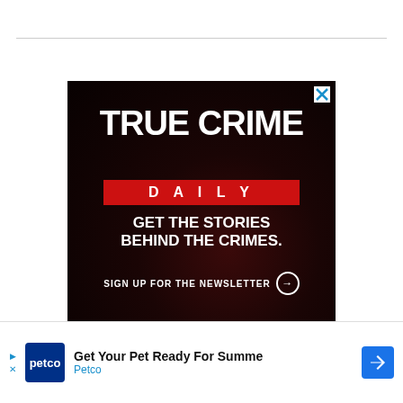[Figure (illustration): True Crime Daily advertisement. Dark red/black background with bold white text reading 'TRUE CRIME' and 'DAILY' on a red bar. Tagline: 'GET THE STORIES BEHIND THE CRIMES.' With 'SIGN UP FOR THE NEWSLETTER' and arrow circle. Close X button in top right.]
COMMENTS
[Figure (illustration): Petco advertisement banner at bottom: 'Get Your Pet Ready For Summe' with Petco logo and blue arrow navigation icon.]